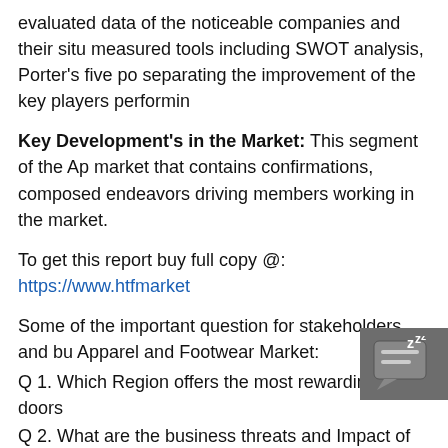evaluated data of the noticeable companies and their situ measured tools including SWOT analysis, Porter's five po separating the improvement of the key players performin
Key Development's in the Market: This segment of the Ap market that contains confirmations, composed endeavors driving members working in the market.
To get this report buy full copy @: https://www.htfmarket
Some of the important question for stakeholders and bu Apparel and Footwear Market:
Q 1. Which Region offers the most rewarding open doors
Q 2. What are the business threats and Impact of latest s
Q 3. What are probably the most encouraging, high-deve showcase by applications, types and regions?
Q 4.What segments grab most noteworthy atte n A
Q 5. Who are the significant players confronting eve